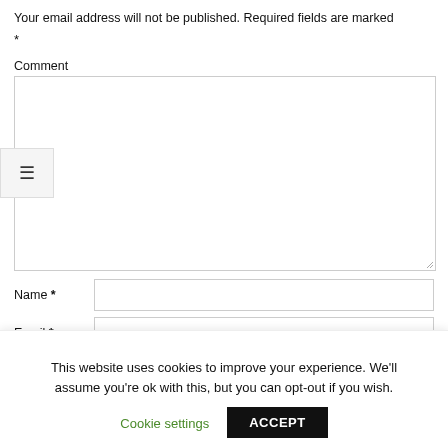Your email address will not be published. Required fields are marked *
Comment
[Figure (screenshot): Large comment textarea input box with resize handle]
Name *
Email *
This website uses cookies to improve your experience. We'll assume you're ok with this, but you can opt-out if you wish.
Cookie settings
ACCEPT